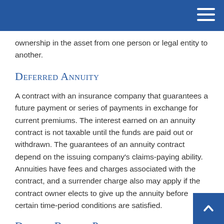ownership in the asset from one person or legal entity to another.
Deferred Annuity
A contract with an insurance company that guarantees a future payment or series of payments in exchange for current premiums. The interest earned on an annuity contract is not taxable until the funds are paid out or withdrawn. The guarantees of an annuity contract depend on the issuing company's claims-paying ability. Annuities have fees and charges associated with the contract, and a surrender charge also may apply if the contract owner elects to give up the annuity before certain time-period conditions are satisfied.
Defined Benefit Plan